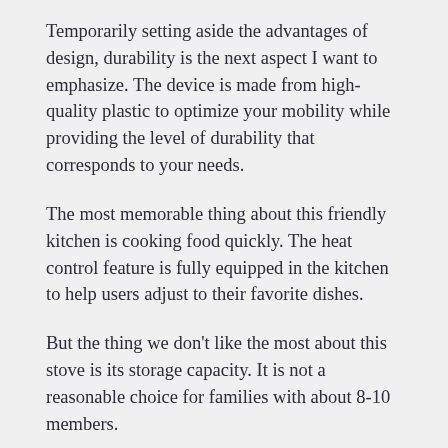Temporarily setting aside the advantages of design, durability is the next aspect I want to emphasize. The device is made from high-quality plastic to optimize your mobility while providing the level of durability that corresponds to your needs.
The most memorable thing about this friendly kitchen is cooking food quickly. The heat control feature is fully equipped in the kitchen to help users adjust to their favorite dishes.
But the thing we don't like the most about this stove is its storage capacity. It is not a reasonable choice for families with about 8-10 members.
TODAY'S BEST DEALS  Buy Now From Amazon
Pros
Impressive performance